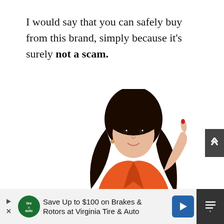I would say that you can safely buy from this brand, simply because it's surely not a scam.
[Figure (photo): A woman with long dark hair wearing an orange blazer, pointing upward with her right index finger, shown inside a green dashed border rectangle.]
Save Up to $100 on Brakes & Rotors at Virginia Tire & Auto